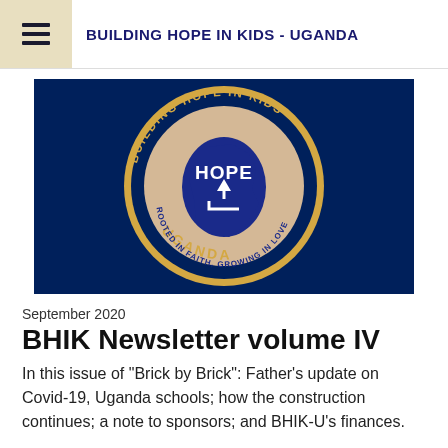BUILDING HOPE IN KIDS - UGANDA
[Figure (logo): Circular logo for Building Hope in Kids Uganda. Dark navy blue background. Gold circular border with text 'BUILDING HOPE IN KIDS' at top and 'UGANDA' at bottom. Inside: a beige/tan circle with a blue silhouette of Uganda map, white text 'HOPE' with an upward arrow, and gold text 'ROOTED IN FAITH, GROWING IN LOVE' around the inner circle.]
September 2020
BHIK Newsletter volume IV
In this issue of "Brick by Brick": Father's update on Covid-19, Uganda schools; how the construction continues; a note to sponsors; and BHIK-U's finances.